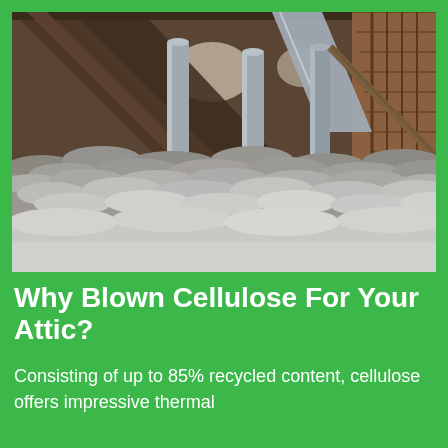[Figure (photo): Interior photograph of an attic showing blown cellulose insulation covering the floor. Visible wooden roof trusses and rafters above, metal HVAC ducts supported by vertical pillars, with gray fluffy cellulose insulation material spread across the attic floor.]
Why Blown Cellulose For Your Attic?
Consisting of up to 85% recycled content, cellulose offers impressive thermal